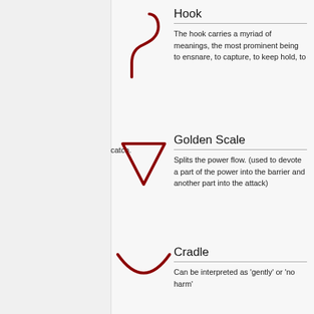[Figure (illustration): A dark red hook symbol, curved at top with a downward stem]
Hook
The hook carries a myriad of meanings, the most prominent being to ensnare, to capture, to keep hold, to catch.
[Figure (illustration): A dark red downward-pointing triangle (Golden Scale symbol)]
Golden Scale
Splits the power flow. (used to devote a part of the power into the barrier and another part into the attack)
[Figure (illustration): A dark red semicircle/cradle shape, open at top]
Cradle
Can be interpreted as 'gently' or 'no harm'